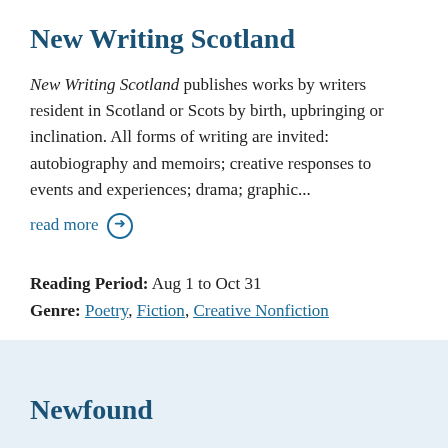New Writing Scotland
New Writing Scotland publishes works by writers resident in Scotland or Scots by birth, upbringing or inclination. All forms of writing are invited: autobiography and memoirs; creative responses to events and experiences; drama; graphic...
read more →
Reading Period:  Aug 1 to Oct 31
Genre:  Poetry, Fiction, Creative Nonfiction
Newfound